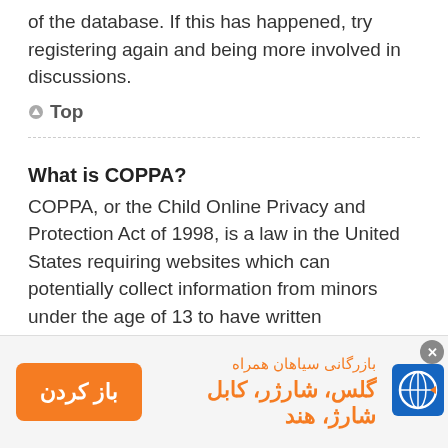of the database. If this has happened, try registering again and being more involved in discussions.
Top
What is COPPA?
COPPA, or the Child Online Privacy and Protection Act of 1998, is a law in the United States requiring websites which can potentially collect information from minors under the age of 13 to have written
[Figure (other): Advertisement banner in Persian: 'بازرگانی سیاهان همراه' with 'گلس، شارژر، کابل شارژ، هند' text, orange button with 'باز کردن']